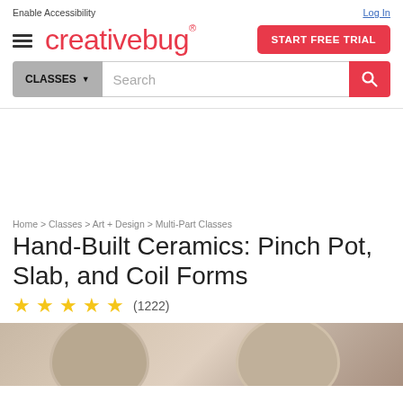Enable Accessibility
Log In
[Figure (logo): Creativebug logo in red/coral color with hamburger menu icon on left and START FREE TRIAL button on right]
CLASSES ▾  Search
Home > Classes > Art + Design > Multi-Part Classes
Hand-Built Ceramics: Pinch Pot, Slab, and Coil Forms
★★★★★ (1222)
[Figure (photo): Bottom portion of photo showing ceramic cups/bowls on a stone surface]